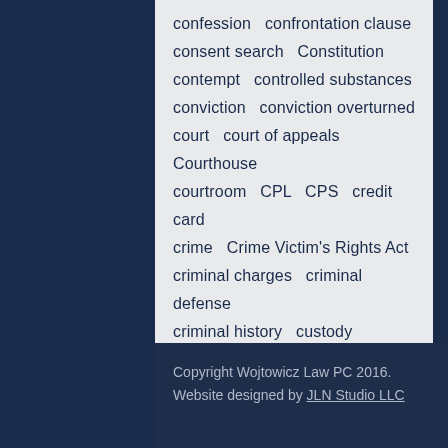confession  confrontation clause  consent search  Constitution  contempt  controlled substances  conviction  conviction overturned  court  court of appeals  Courthouse  courtroom  CPL  CPS  credit card  crime  Crime Victim's Rights Act  criminal charges  criminal defense  criminal history  custody  custody motion  debt  Defendant  defendant's rights  Defendant's Substantial Rights  defense
Copyright Wojtowicz Law PC 2016. Website designed by JLN Studio LLC